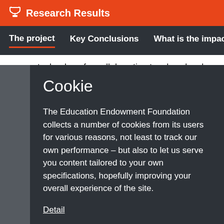Research Results
The project  Key Conclusions  What is the impac  >
technology for collaborative teacher development with
Cookie
The Education Endowment Foundation collects a number of cookies from its users for various reasons, not least to track our own performance – but also to let us serve you content tailored to your own specifications, hopefully improving your overall experience of the site.
Detail
Accept all